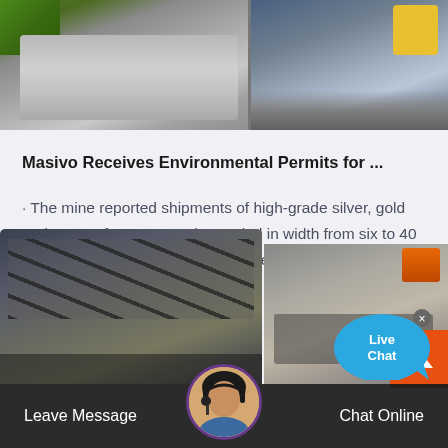[Figure (photo): Top strip showing two mining site photos: left shows green crusher/excavator equipment with rock piles in grayscale; right shows yellow and blue mining machinery]
Masivo Receives Environmental Permits for ...
· The mine reported shipments of high-grade silver, gold and copper from a zone that varied in width from six to 40 feet with grades up to 226 grams per tonne ("g/t") silver, 9 ...
[Figure (photo): Two mining site photos at bottom: left shows conveyor belts and pipelines at a mining facility; right shows workers on mining equipment structure]
[Figure (screenshot): Live Chat bubble widget with blue speech bubble showing 'Live Chat' text and an X close button]
Leave Message   Chat Online